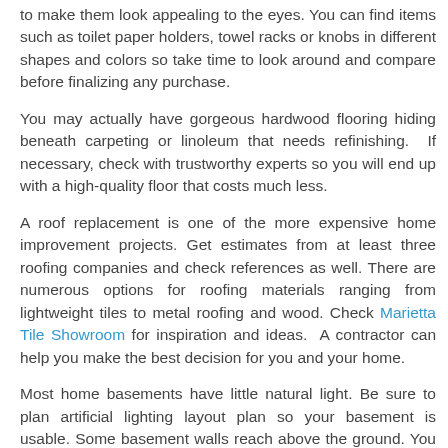to make them look appealing to the eyes. You can find items such as toilet paper holders, towel racks or knobs in different shapes and colors so take time to look around and compare before finalizing any purchase.
You may actually have gorgeous hardwood flooring hiding beneath carpeting or linoleum that needs refinishing. If necessary, check with trustworthy experts so you will end up with a high-quality floor that costs much less.
A roof replacement is one of the more expensive home improvement projects. Get estimates from at least three roofing companies and check references as well. There are numerous options for roofing materials ranging from lightweight tiles to metal roofing and wood. Check Marietta Tile Showroom for inspiration and ideas. A contractor can help you make the best decision for you and your home.
Most home basements have little natural light. Be sure to plan artificial lighting layout plan so your basement is usable. Some basement walls reach above the ground. You install some windows in to allow natural lighting enter the room.